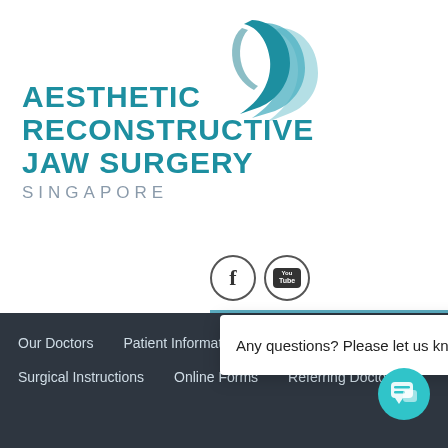[Figure (logo): Aesthetic Reconstructive Jaw Surgery Singapore logo mark - teal/blue layered face profile shapes]
AESTHETIC RECONSTRUCTIVE JAW SURGERY
SINGAPORE
[Figure (illustration): Facebook and YouTube social media icon circles]
Schedule Your Consultation Today
Any questions? Please let us know.
Our Doctors   Patient Information   Procedures   Surgical Instructions   Online Forms   Referring Doctors